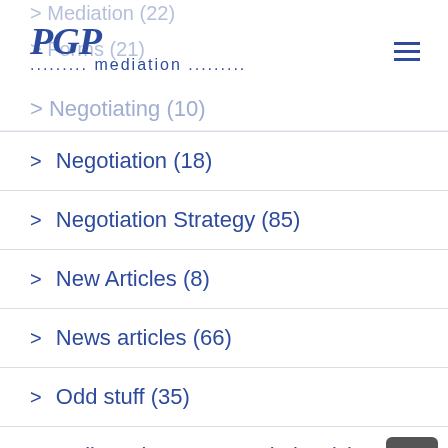[Figure (logo): PGP mediation logo with stylized italic PGP text and dotted mediation text below]
> Mediation (22)
> Forms (21)
> Negotiating (10)
> Negotiation (18)
> Negotiation Strategy (85)
> New Articles (8)
> News articles (66)
> Odd stuff (35)
> Online Dispute Rensolution (2)